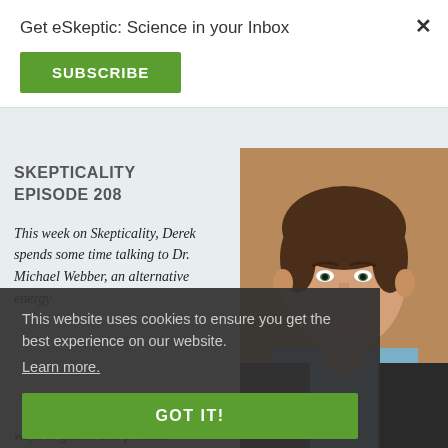Get eSkeptic: Science in your Inbox
SUBSCRIBE
SKEPTICALITY EPISODE 208
This week on Skepticality, Derek spends some time talking to Dr. Michael Webber, an alternative energy...
[Figure (photo): Headshot of a smiling man in a dark suit with light blue shirt, brown hair, photographed against a warm brown background]
This website uses cookies to ensure you get the best experience on our website. Learn more.
GOT IT!
ways to gather and produce